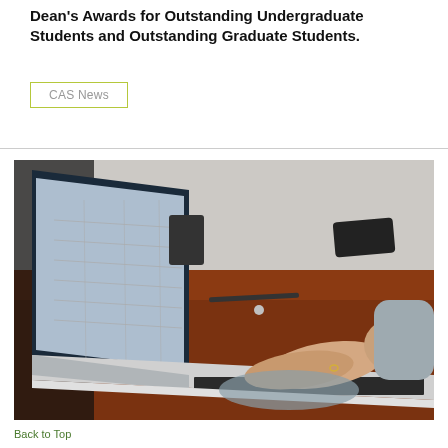Dean's Awards for Outstanding Undergraduate Students and Outstanding Graduate Students.
CAS News
[Figure (photo): Close-up photo of a person wearing a grey sweater typing on a laptop keyboard, placed on a wooden desk with a smartphone and other items visible in the background.]
Back to Top